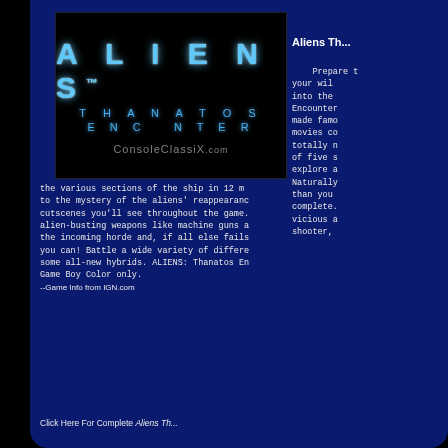[Figure (screenshot): Aliens Thanatos Encounter game logo on black background with ConsoleClassix.com watermark. Shows glowing blue ALIENS text, THANATOS ENCOUNTER subtitle, and a circular logo.]
Aliens Th...
Prepare to your wil into the Encounter made famo movies co totally  of five  explore  Naturally than you complete. vicious  shooter, the various sections of the ship in 12 m to the mystery of the aliens' reappearanc cutscenes you'll see throughout the game. alien-busting weapons like machine guns a the incoming horde and, if all else fails you can! Battle a wide variety of differe some all-new hybrids. ALIENS: Thanatos En Game Boy Color only. --Game Info from IGN.com
Click Here For Complete Aliens Th...